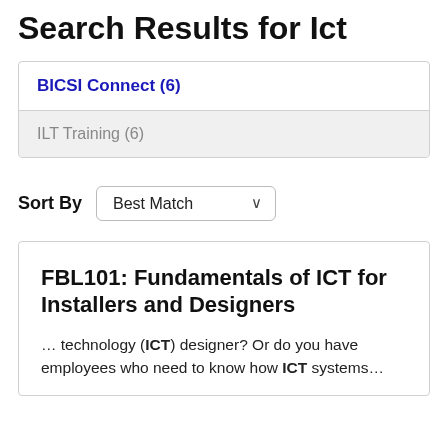Search Results for Ict
BICSI Connect (6)
ILT Training (6)
Sort By  Best Match
FBL101: Fundamentals of ICT for Installers and Designers
... technology (ICT) designer? Or do you have employees who need to know how ICT systems...